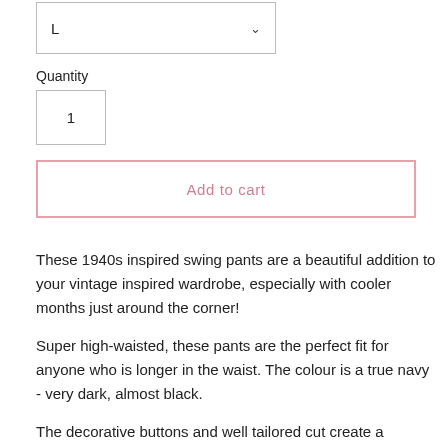[Figure (screenshot): Dropdown selector showing size 'L' with a chevron arrow]
Quantity
[Figure (screenshot): Quantity input box showing value 1]
Add to cart
These 1940s inspired swing pants are a beautiful addition to your vintage inspired wardrobe, especially with cooler months just around the corner!
Super high-waisted, these pants are the perfect fit for anyone who is longer in the waist. The colour is a true navy - very dark, almost black.
The decorative buttons and well tailored cut create a slimming line at the waist. The wide pant leg is roomy and comfortable, and the fabric